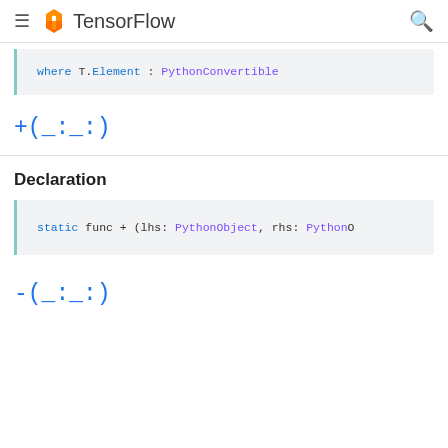TensorFlow
where T.Element : PythonConvertible
+(_:_:)
Declaration
static func + (lhs: PythonObject, rhs: PythonObject)
-(_:_:)